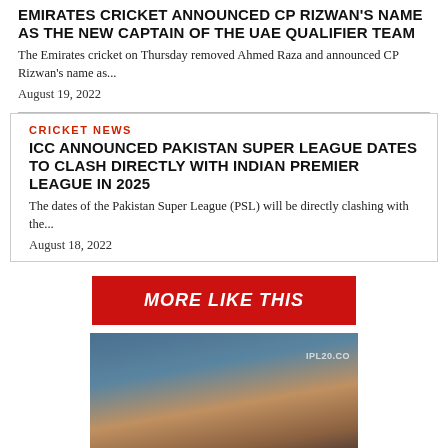EMIRATES CRICKET ANNOUNCED CP RIZWAN'S NAME AS THE NEW CAPTAIN OF THE UAE QUALIFIER TEAM
The Emirates cricket on Thursday removed Ahmed Raza and announced CP Rizwan's name as...
August 19, 2022
CRICKET NEWS
ICC ANNOUNCED PAKISTAN SUPER LEAGUE DATES TO CLASH DIRECTLY WITH INDIAN PREMIER LEAGUE IN 2025
The dates of the Pakistan Super League (PSL) will be directly clashing with the...
August 18, 2022
MORE LIKE THIS
[Figure (photo): A man in a dark jacket at an IPL20 event, close-up portrait photo]